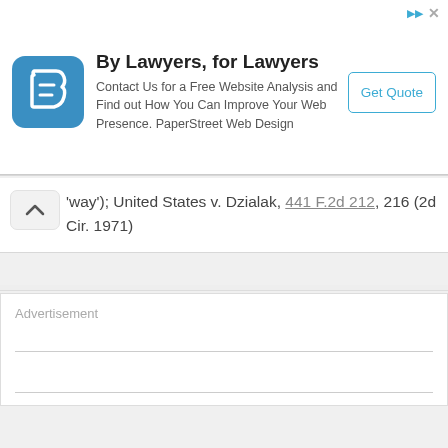[Figure (other): PaperStreet Web Design advertisement banner with logo, title 'By Lawyers, for Lawyers', body text, and Get Quote button]
'way'); United States v. Dzialak, 441 F.2d 212, 216 (2d Cir. 1971)
Advertisement